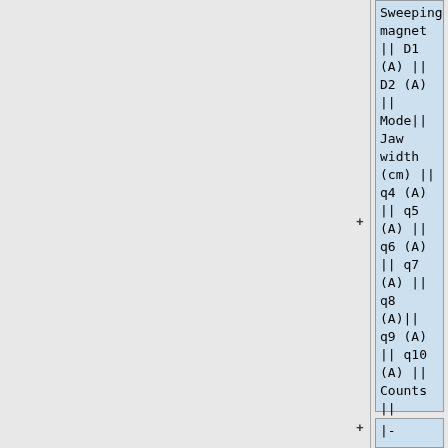Sweeping magnet || D1 (A) || D2 (A) || Mode|| Jaw width (cm) || q4 (A) || q5 (A) || q6 (A) || q7 (A) || q8 (A)|| q9 (A) || q10 (A) || Counts ||  Time (s)|| counts/second || Area of pulse (nVs) || conditions
|-